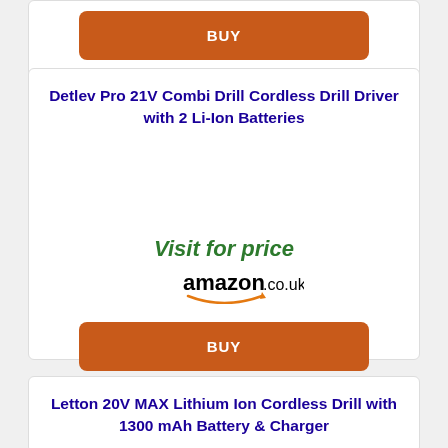[Figure (other): BUY button (orange/brown rounded rectangle with white BUY text) for a product card partially visible at top of page]
Detlev Pro 21V Combi Drill Cordless Drill Driver with 2 Li-Ion Batteries
Visit for price
[Figure (logo): Amazon.co.uk logo with orange smile/arrow underneath]
[Figure (other): BUY button (orange/brown rounded rectangle with white BUY text)]
Letton 20V MAX Lithium Ion Cordless Drill with 1300 mAh Battery & Charger